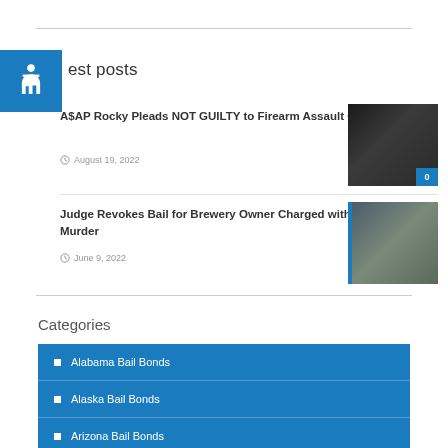latest posts
A$AP Rocky Pleads NOT GUILTY to Firearm Assault Charges
August 19, 2022
[Figure (photo): Dark photo showing someone holding a firearm]
Judge Revokes Bail for Brewery Owner Charged with DUI Murder
June 9, 2022
[Figure (photo): Man in plaid shirt standing in brewery]
Categories
Alabama Bail Bonds
Alaska Bail Bonds
Arizona Bail Bonds